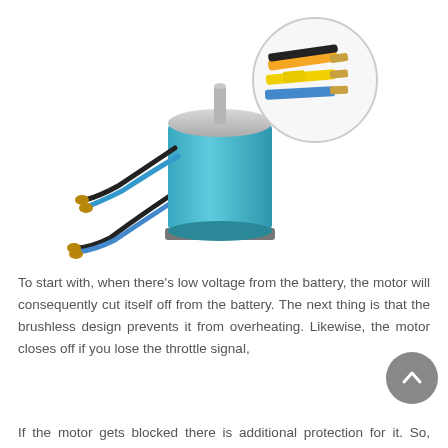[Figure (photo): A brushless motor with a cylindrical blue body and metallic shaft on top, with black and blue wires. An inset circular callout shows three stripped wire ends in orange, yellow, and blue colors.]
To start with, when there's low voltage from the battery, the motor will consequently cut itself off from the battery. The next thing is that the brushless design prevents it from overheating. Likewise, the motor closes off if you lose the throttle signal,
If the motor gets blocked there is additional protection for it. So, Safety comes first for this